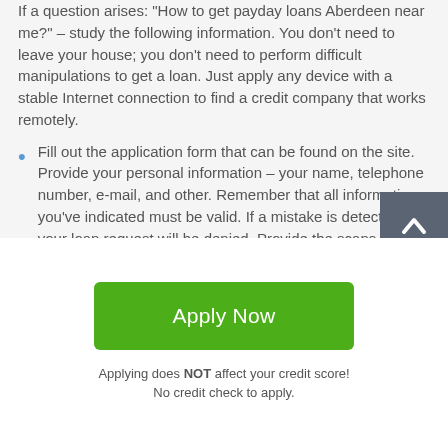If a question arises: "How to get payday loans Aberdeen near me?" – study the following information. You don't need to leave your house; you don't need to perform difficult manipulations to get a loan. Just apply any device with a stable Internet connection to find a credit company that works remotely.
Fill out the application form that can be found on the site. Provide your personal information – your name, telephone number, e-mail, and other. Remember that all information you've indicated must be valid. If a mistake is detected, your loan request will be denied. Provide the scans of the required documents to confirm your legal age, stable income, and your residence.
[Figure (other): Scroll-to-top button: dark grey square with white upward arrow]
Apply Now
Applying does NOT affect your credit score!
No credit check to apply.